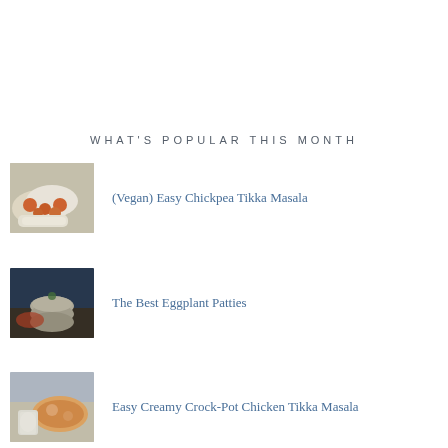WHAT'S POPULAR THIS MONTH
(Vegan) Easy Chickpea Tikka Masala
The Best Eggplant Patties
Easy Creamy Crock-Pot Chicken Tikka Masala